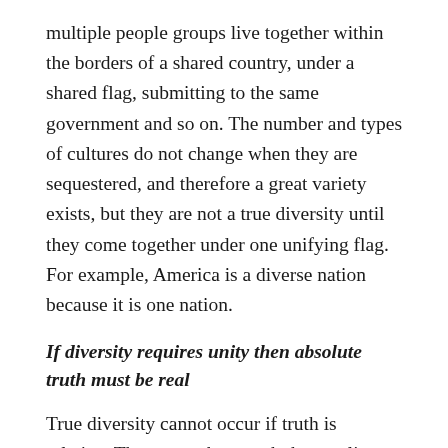multiple people groups live together within the borders of a shared country, under a shared flag, submitting to the same government and so on. The number and types of cultures do not change when they are sequestered, and therefore a great variety exists, but they are not a true diversity until they come together under one unifying flag. For example, America is a diverse nation because it is one nation.
If diversity requires unity then absolute truth must be real
True diversity cannot occur if truth is relative. There must be a truth that applies to all members of the diversity for them to share a common unifying bond.